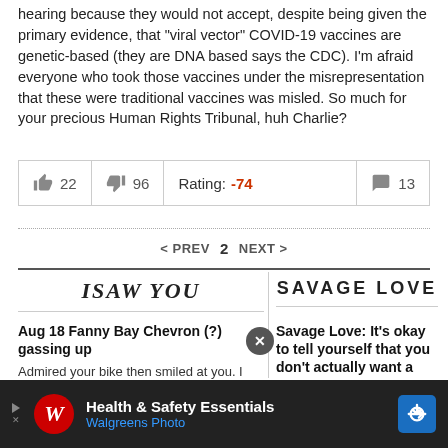hearing because they would not accept, despite being given the primary evidence, that "viral vector" COVID-19 vaccines are genetic-based (they are DNA based says the CDC). I'm afraid everyone who took those vaccines under the misrepresentation that these were traditional vaccines was misled. So much for your precious Human Rights Tribunal, huh Charlie?
| Likes | Dislikes | Rating | Comments |
| --- | --- | --- | --- |
| 22 | 96 | Rating: -74 | 13 |
< PREV  2  NEXT >
[Figure (logo): I SAW YOU logo in bold serif italic font]
[Figure (logo): SAVAGE LOVE logo in bold sans-serif uppercase font]
Aug 18 Fanny Bay Chevron (?) gassing up
Admired your bike then smiled at you. I should've said hello.
Savage Love: It's okay to tell yourself that you don't actually want a long-term relationship
[Figure (infographic): Walgreens advertisement bar at bottom with Health & Safety Essentials, Walgreens Photo]